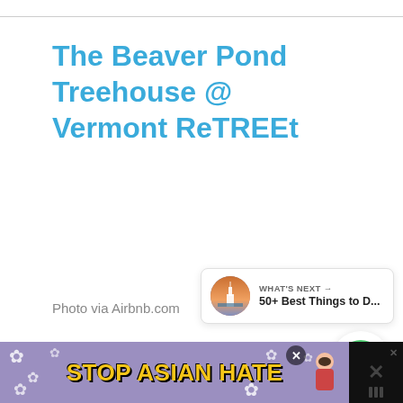The Beaver Pond Treehouse @ Vermont ReTREEt
[Figure (infographic): UI panel with green heart button, like count of 25, and share button]
[Figure (infographic): What's Next card showing lighthouse image with text '50+ Best Things to D...']
Photo via Airbnb.com
[Figure (illustration): Stop Asian Hate advertisement banner with purple floral background and yellow bold text]